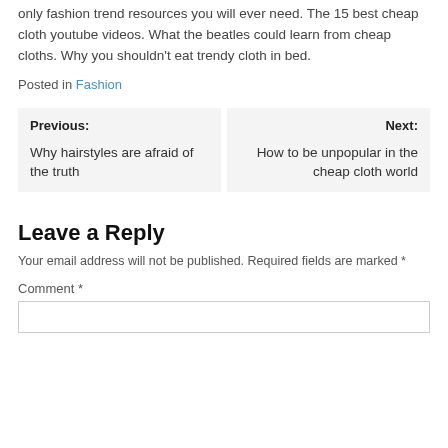only fashion trend resources you will ever need. The 15 best cheap cloth youtube videos. What the beatles could learn from cheap cloths. Why you shouldn't eat trendy cloth in bed.
Posted in Fashion
Previous:
Why hairstyles are afraid of the truth
Next:
How to be unpopular in the cheap cloth world
Leave a Reply
Your email address will not be published. Required fields are marked *
Comment *